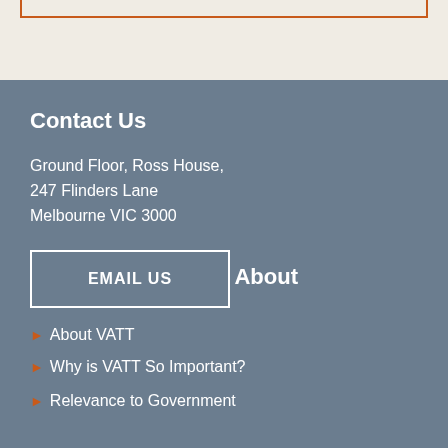Contact Us
Ground Floor, Ross House,
247 Flinders Lane
Melbourne VIC 3000
EMAIL US
About
About VATT
Why is VATT So Important?
Relevance to Government